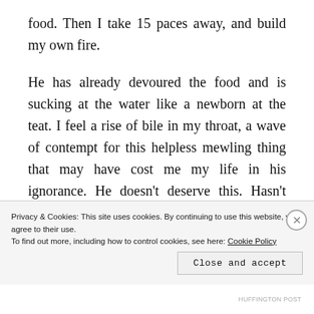food. Then I take 15 paces away, and build my own fire.
He has already devoured the food and is sucking at the water like a newborn at the teat. I feel a rise of bile in my throat, a wave of contempt for this helpless mewling thing that may have cost me my life in his ignorance. He doesn't deserve this. Hasn't worked for it. Cannot repay me. The dark something dances among these thoughts with giddy grace, ringing them like bells so that they will not fade. I have to shake my
Privacy & Cookies: This site uses cookies. By continuing to use this website, you agree to their use.
To find out more, including how to control cookies, see here: Cookie Policy
Close and accept
HUFFINGTON POST